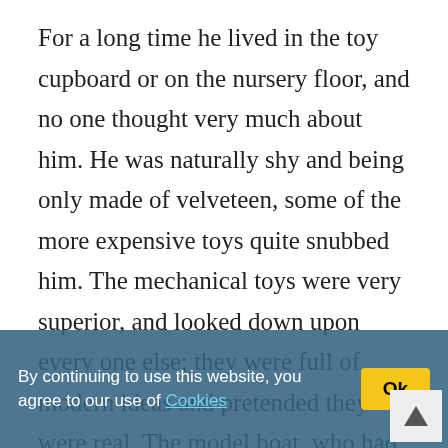For a long time he lived in the toy cupboard or on the nursery floor, and no one thought very much about him. He was naturally shy and being only made of velveteen, some of the more expensive toys quite snubbed him. The mechanical toys were very superior, and looked down upon every one else; they were full of modern ideas and pretended they were real. The model boat, who had lived through two seasons and lost most of his paint, caught the tone from them and never missed an opportunity of referring to his rigging in technical terms. The Rabbit could not claim to be a model of anything, for he didn't know that real rabbits existed; he thought they were all stuffed with sawdust like him, and he understood that sawdust was quite out-of-date and
By continuing to use this website, you agree to our use of Cookies